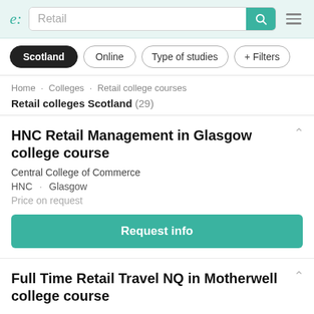e: Retail [search bar] [menu icon]
Scotland
Online
Type of studies
+ Filters
Home · Colleges · Retail college courses
Retail colleges Scotland (29)
HNC Retail Management in Glasgow college course
Central College of Commerce
HNC · Glasgow
Price on request
Request info
Full Time Retail Travel NQ in Motherwell college course